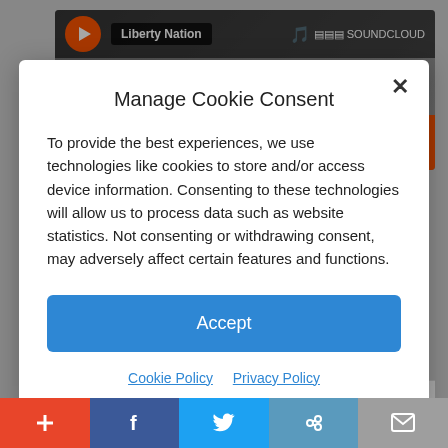[Figure (screenshot): SoundCloud player widget for Liberty Nation, showing an orange play button, title pill, SoundCloud logo, and an orange bar reading 'Play on SoundCloud']
Manage Cookie Consent
To provide the best experiences, we use technologies like cookies to store and/or access device information. Consenting to these technologies will allow us to process data such as website statistics. Not consenting or withdrawing consent, may adversely affect certain features and functions.
Accept
Cookie Policy  Privacy Policy
Tim Donner: From the moment Donald
[Figure (screenshot): Social share toolbar at the bottom with five buttons: add (+), Facebook (f), Twitter bird, chain link, and email envelope icons on colored backgrounds (red, dark blue, light blue, teal, gray)]